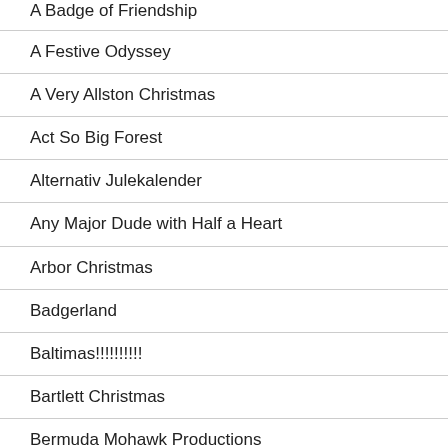A Badge of Friendship
A Festive Odyssey
A Very Allston Christmas
Act So Big Forest
Alternativ Julekalender
Any Major Dude with Half a Heart
Arbor Christmas
Badgerland
Baltimas!!!!!!!!!!
Bartlett Christmas
Bermuda Mohawk Productions
Bert Day Christmas